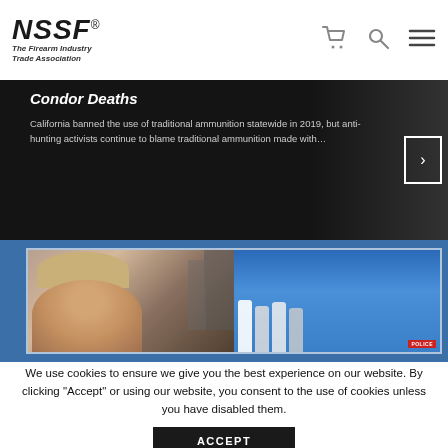[Figure (logo): NSSF - The Firearm Industry Trade Association logo with cart, search, and menu icons]
Condor Deaths
California banned the use of traditional ammunition statewide in 2019, but anti-hunting activists continue to blame traditional ammunition made with…
[Figure (photo): Photo of a man in front of a blue background with a police scene visible]
We use cookies to ensure we give you the best experience on our website. By clicking "Accept" or using our website, you consent to the use of cookies unless you have disabled them.